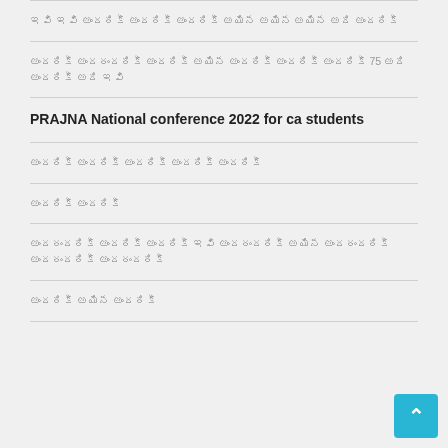ఇవి ఇవి అందరికీ అందరికీ అందరికీ అయిన అయిన అయిన అది అందరికీ
అందరికీ అందరందరికీ అందరికీ అయిన అందరికీ అందరికీ అందరికీ 75 అది అందరికీ అది ఇవి
PRAJNA National conference 2022 for ca students
అందరికీ అందరికీ అందరికీ అందరికీ అందరికీ
అందరికీ అందరికీ
అందరందరికీ అందరికీ అందరికీ ఇవి అందరందరికీ అయిన అందరందరికీ అందరందరికీ అందరందరికీ
అందరికీ అయిన అందరికీ